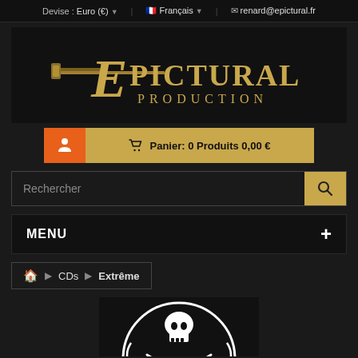Devise : Euro (€)  Français  renard@epictural.fr
[Figure (logo): Epictural Production logo — stylized medieval text with a sword through the letter E, gold/tan color on dark background]
Panier: 0 Produits 0,00 €
Rechercher
MENU
CDs  Extrême
[Figure (illustration): Black and white circular emblem with a skull and crossed weapons, partial view at bottom]